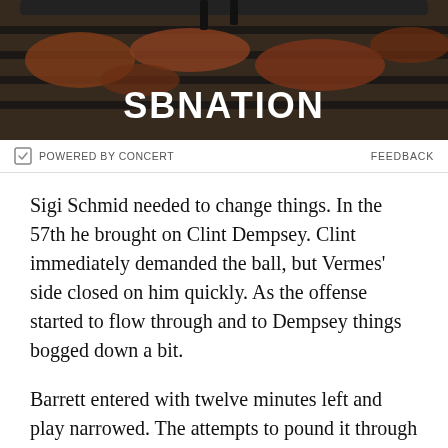[Figure (photo): SB Nation advertisement banner showing grilled meat/food on a barbecue grill with the SBNation logo overlaid in white text]
POWERED BY CONCERT   FEEDBACK
Sigi Schmid needed to change things. In the 57th he brought on Clint Dempsey. Clint immediately demanded the ball, but Vermes' side closed on him quickly. As the offense started to flow through and to Dempsey things bogged down a bit.
Barrett entered with twelve minutes left and play narrowed. The attempts to pound it through the center weren't working.
Sean Okoli became Seattle's second Home Grown Player to get competitive minutes. Often left with space the demand on him to effectively cross the ball was